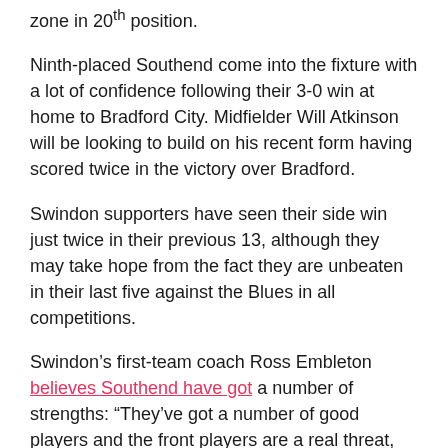zone in 20th position.
Ninth-placed Southend come into the fixture with a lot of confidence following their 3-0 win at home to Bradford City. Midfielder Will Atkinson will be looking to build on his recent form having scored twice in the victory over Bradford.
Swindon supporters have seen their side win just twice in their previous 13, although they may take hope from the fact they are unbeaten in their last five against the Blues in all competitions.
Swindon's first-team coach Ross Embleton believes Southend have got a number of strengths: “They’ve got a number of good players and the front players are a real threat, we know what we are going to come up against.”